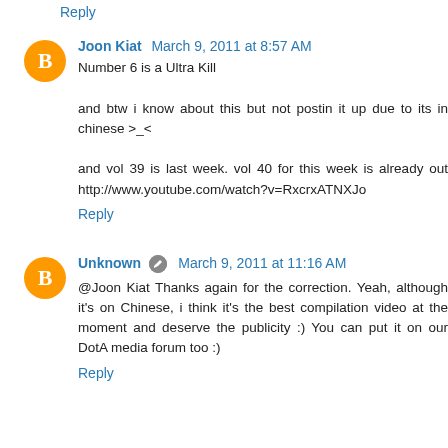Reply
Joon Kiat  March 9, 2011 at 8:57 AM
Number 6 is a Ultra Kill

and btw i know about this but not postin it up due to its in chinese >_<

and vol 39 is last week. vol 40 for this week is already out http://www.youtube.com/watch?v=RxcrxATNXJo
Reply
Unknown  March 9, 2011 at 11:16 AM
@Joon Kiat Thanks again for the correction. Yeah, although it's on Chinese, i think it's the best compilation video at the moment and deserve the publicity :) You can put it on our DotA media forum too :)
Reply